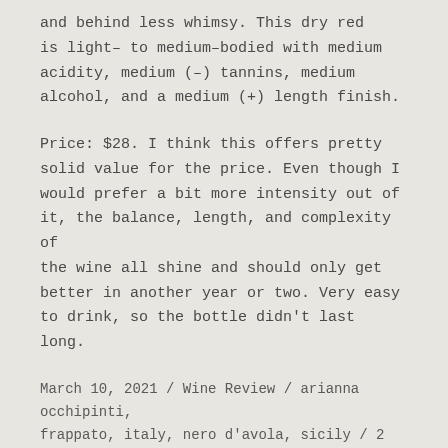and behind less whimsy. This dry red is light- to medium-bodied with medium acidity, medium (-) tannins, medium alcohol, and a medium (+) length finish.
Price: $28. I think this offers pretty solid value for the price. Even though I would prefer a bit more intensity out of it, the balance, length, and complexity of the wine all shine and should only get better in another year or two. Very easy to drink, so the bottle didn't last long.
March 10, 2021 / Wine Review / arianna occhipinti, frappato, italy, nero d'avola, sicily / 2 Comments